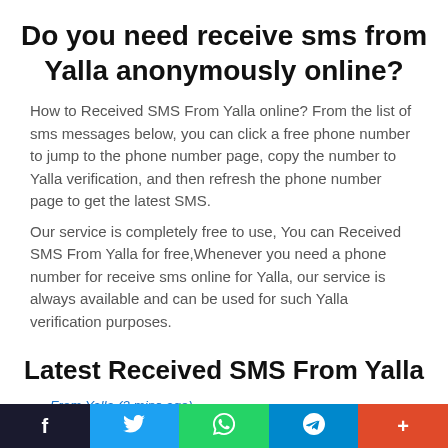Do you need receive sms from Yalla anonymously online?
How to Received SMS From Yalla online? From the list of sms messages below, you can click a free phone number to jump to the phone number page, copy the number to Yalla verification, and then refresh the phone number page to get the latest SMS.
Our service is completely free to use, You can Received SMS From Yalla for free,Whenever you need a phone number for receive sms online for Yalla, our service is always available and can be used for such Yalla verification purposes.
Latest Received SMS From Yalla
From Yalla (2 mins ago)
To +33644624764
[YallaLudo] 657866 is your verification code, welcome to Yalla Ludo!
f  twitter  whatsapp  telegram  +